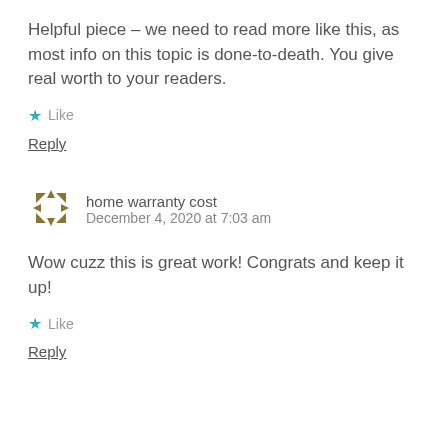Helpful piece – we need to read more like this, as most info on this topic is done-to-death. You give real worth to your readers.
★ Like
Reply
home warranty cost
December 4, 2020 at 7:03 am
Wow cuzz this is great work! Congrats and keep it up!
★ Like
Reply